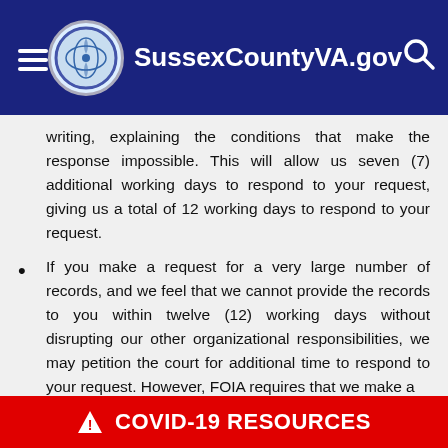SussexCountyVA.gov
writing, explaining the conditions that make the response impossible. This will allow us seven (7) additional working days to respond to your request, giving us a total of 12 working days to respond to your request.
If you make a request for a very large number of records, and we feel that we cannot provide the records to you within twelve (12) working days without disrupting our other organizational responsibilities, we may petition the court for additional time to respond to your request. However, FOIA requires that we make a
⚠ COVID-19 RESOURCES